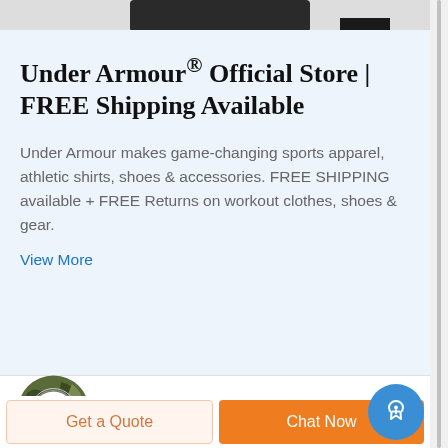[Figure (other): Partial product image at top of page (dark/black object, partially visible, cut off at top)]
Under Armour® Official Store | FREE Shipping Available
Under Armour makes game-changing sports apparel, athletic shirts, shoes & accessories. FREE SHIPPING available + FREE Returns on workout clothes, shoes & gear.
View More
[Figure (logo): Circular camouflage-pattern logo with red letter D in the center]
Get a Quote
Chat Now